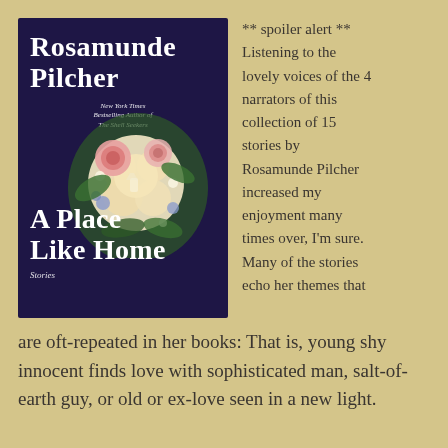[Figure (illustration): Book cover of 'A Place Like Home' by Rosamunde Pilcher. Dark navy/purple background with large white serif text reading 'Rosamunde Pilcher' at top and 'A Place Like Home' at bottom. Floral arrangement of roses, hydrangeas, and leaves in center. Small text reads 'New York Times Bestselling Author of The Shell Seekers'. Subtitle 'Stories' at bottom.]
** spoiler alert ** Listening to the lovely voices of the 4 narrators of this collection of 15 stories by Rosamunde Pilcher increased my enjoyment many times over, I'm sure. Many of the stories echo her themes that are oft-repeated in her books: That is, young shy innocent finds love with sophisticated man, salt-of-earth guy, or old or ex-love seen in a new light.